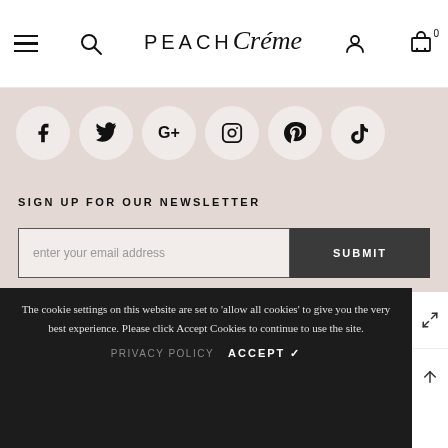PEACH Créme — Navigation header with menu, search, user, and cart icons
[Figure (infographic): Six social media icon circles: Facebook, Twitter, Google+, Instagram, Pinterest, TikTok]
SIGN UP FOR OUR NEWSLETTER
enter your email address | SUBMIT
© 2021 PeachCreme. All Rights Reserved.
The cookie settings on this website are set to 'allow all cookies' to give you the very best experience. Please click Accept Cookies to continue to use the site.
PRIVACY POLICY   ACCEPT ✓